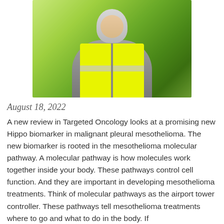[Figure (photo): A man wearing a yellow high-visibility vest and a grey hoodie, smiling, photographed against a green blurred background.]
August 18, 2022
A new review in Targeted Oncology looks at a promising new Hippo biomarker in malignant pleural mesothelioma. The new biomarker is rooted in the mesothelioma molecular pathway. A molecular pathway is how molecules work together inside your body. These pathways control cell function. And they are important in developing mesothelioma treatments. Think of molecular pathways as the airport tower controller. These pathways tell mesothelioma treatments where to go and what to do in the body. If